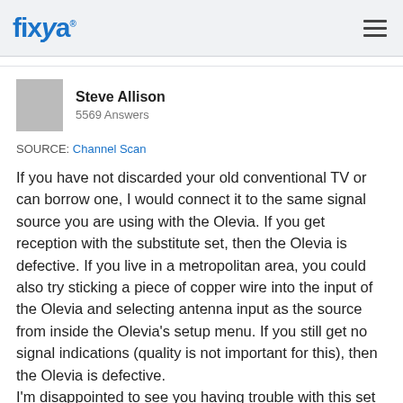fixya
Steve Allison
5569 Answers
SOURCE: Channel Scan
If you have not discarded your old conventional TV or can borrow one, I would connect it to the same signal source you are using with the Olevia. If you get reception with the substitute set, then the Olevia is defective. If you live in a metropolitan area, you could also try sticking a piece of copper wire into the input of the Olevia and selecting antenna input as the source from inside the Olevia's setup menu. If you still get no signal indications (quality is not important for this), then the Olevia is defective.
I'm disappointed to see you having trouble with this set